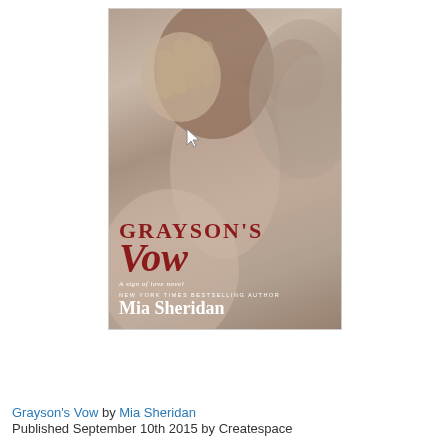[Figure (illustration): Book cover of 'Grayson's Vow' by Mia Sheridan. Sepia-toned photo of a woman's back with a man's hand in her hair; title in dark red serif font, author name in white. Subtitle reads 'A sign of love novel'. Author billing: NEW YORK TIMES BESTSELLING AUTHOR.]
Grayson's Vow by Mia Sheridan
Published September 10th 2015 by Createspace